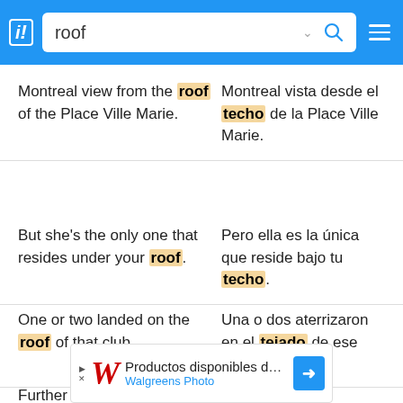SpanishDict app header with search bar showing 'roof'
Montreal view from the roof of the Place Ville Marie.
Montreal vista desde el techo de la Place Ville Marie.
But she's the only one that resides under your roof.
Pero ella es la única que reside bajo tu techo.
One or two landed on the roof of that club.
Una o dos aterrizaron en el tejado de ese club.
Further light is provided by
Más luz es proporcionada
↓ Take SpanishDict with you
[Figure (screenshot): Walgreens Photo advertisement banner at bottom of screen]